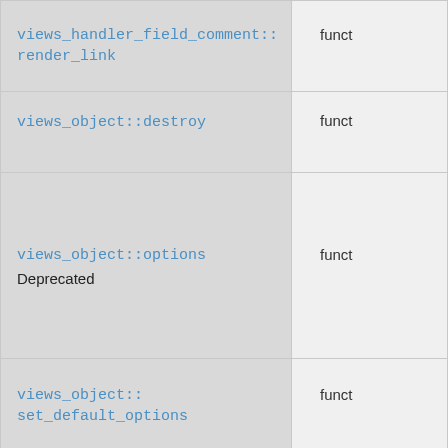| Name | Type |
| --- | --- |
| views_handler_field_comment::render_link | funct |
| views_object::destroy | funct |
| views_object::options
Deprecated | funct |
| views_object::set_default_options | funct |